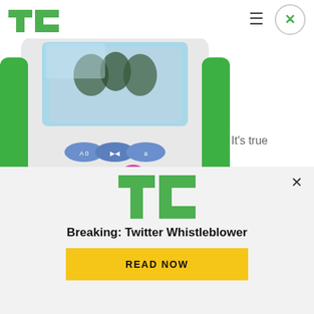TechCrunch logo, hamburger menu, close button
[Figure (photo): LeapFrog children's learning device with QWERTY keyboard, colorful navigation buttons, and a screen showing cartoon characters. The device has a green and white color scheme.]
It's true
[Figure (logo): TechCrunch TC logo in green, large size, shown in advertisement overlay panel]
Breaking: Twitter Whistleblower
READ NOW